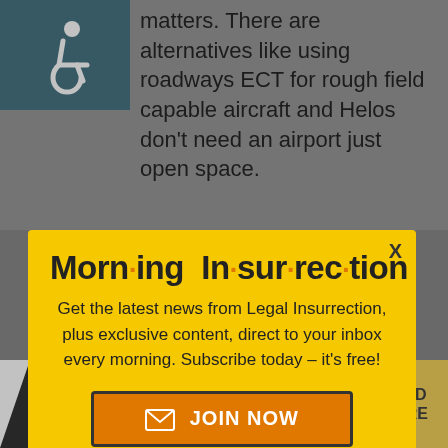[Figure (illustration): Wheelchair accessibility icon, white on teal/dark background]
matters. There are alternatives like using roadways ECT for rough field capable aircraft and Helos don't need an airport just open space.
[Figure (infographic): Morning Insurrection newsletter modal popup with yellow background, title 'Morn·ing In·sur·rec·tion', subscription call to action, and JOIN NOW button]
at 3:03 pm
Back to top
to march out of Kabul on the
[Figure (infographic): The Perspective advertisement banner: 'SEE WHAT YOU'RE MISSING' with READ MORE button on yellow background]